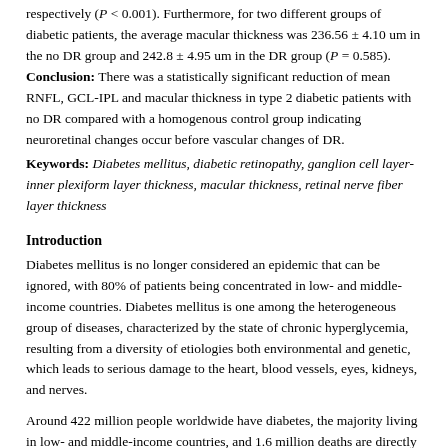respectively (P < 0.001). Furthermore, for two different groups of diabetic patients, the average macular thickness was 236.56 ± 4.10 um in the no DR group and 242.8 ± 4.95 um in the DR group (P = 0.585). Conclusion: There was a statistically significant reduction of mean RNFL, GCL-IPL and macular thickness in type 2 diabetic patients with no DR compared with a homogenous control group indicating neuroretinal changes occur before vascular changes of DR.
Keywords: Diabetes mellitus, diabetic retinopathy, ganglion cell layer-inner plexiform layer thickness, macular thickness, retinal nerve fiber layer thickness
Introduction
Diabetes mellitus is no longer considered an epidemic that can be ignored, with 80% of patients being concentrated in low- and middle-income countries. Diabetes mellitus is one among the heterogeneous group of diseases, characterized by the state of chronic hyperglycemia, resulting from a diversity of etiologies both environmental and genetic, which leads to serious damage to the heart, blood vessels, eyes, kidneys, and nerves.
Around 422 million people worldwide have diabetes, the majority living in low- and middle-income countries, and 1.6 million deaths are directly attributed to